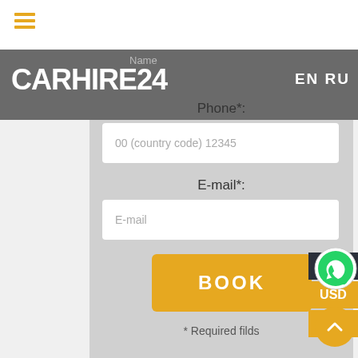[Figure (screenshot): CarHire24 website booking form screenshot showing Phone and E-mail fields with a BOOK button, currency selector (AED/USD/EUR), WhatsApp icon, and scroll-to-top button. Logo 'CARHIRE24' in white on dark gray header. Language options EN RU visible.]
Name
EN RU
Phone*:
00 (country code) 12345
E-mail*:
E-mail
BOOK
* Required filds
AED
USD
EUR